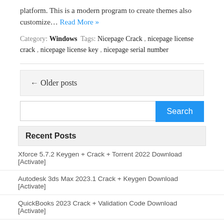platform. This is a modern program to create themes also customize… Read More »
Category: Windows Tags: Nicepage Crack , nicepage license crack , nicepage license key , nicepage serial number
← Older posts
Search
Recent Posts
Xforce 5.7.2 Keygen + Crack + Torrent 2022 Download [Activate]
Autodesk 3ds Max 2023.1 Crack + Keygen Download [Activate]
QuickBooks 2023 Crack + Validation Code Download [Activate]